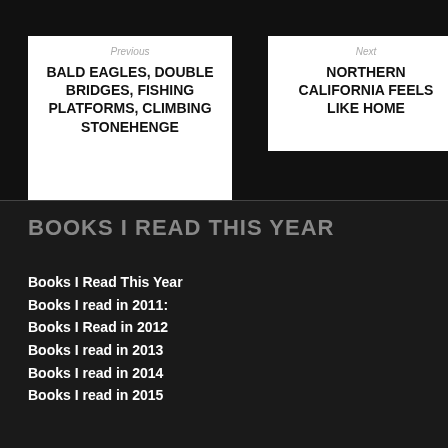Previous
BALD EAGLES, DOUBLE BRIDGES, FISHING PLATFORMS, CLIMBING STONEHENGE
Next
NORTHERN CALIFORNIA FEELS LIKE HOME
BOOKS I READ THIS YEAR
Books I Read This Year
Books I read in 2011:
Books I Read in 2012
Books I read in 2013
Books I read in 2014
Books I read in 2015